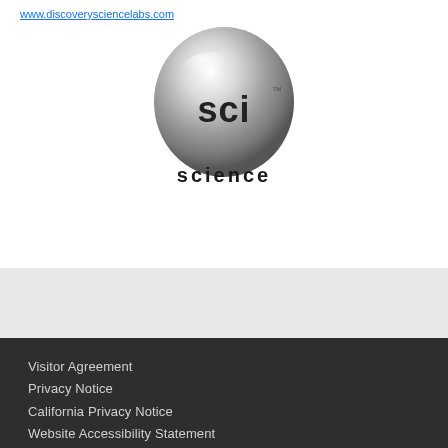www.discoverysciencelabs.com
[Figure (logo): SCI science channel logo — a silver metallic rounded shape with 'sci' text and 'science' written below]
Visitor Agreement
Privacy Notice
California Privacy Notice
Website Accessibility Statement